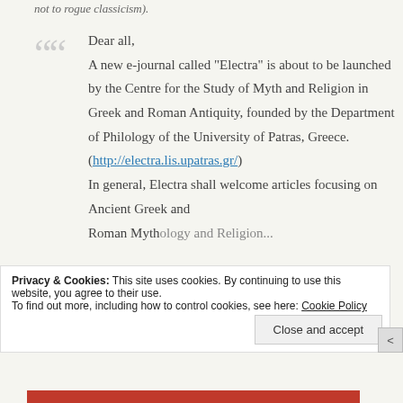not to rogue classicism).
Dear all,
A new e-journal called "Electra" is about to be launched by the Centre for the Study of Myth and Religion in Greek and Roman Antiquity, founded by the Department of Philology of the University of Patras, Greece. (http://electra.lis.upatras.gr/)
In general, Electra shall welcome articles focusing on Ancient Greek and Roman Mythology and Religion...
Privacy & Cookies: This site uses cookies. By continuing to use this website, you agree to their use.
To find out more, including how to control cookies, see here: Cookie Policy
Close and accept